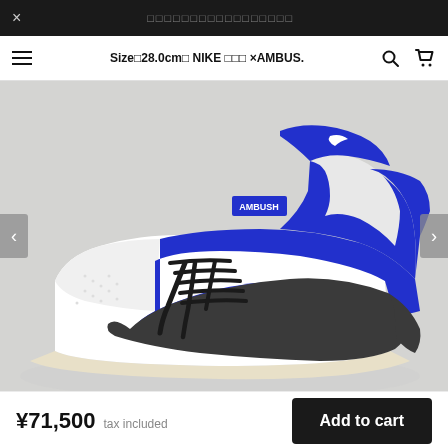× □□□□□□□□□□□□□□□□
Size□28.0cm□ NIKE □□□ ×AMBUS.
[Figure (photo): Blue and white Nike × AMBUSH high-top sneaker with large black swoosh and black laces, displayed on a light gray background]
¥71,500 tax included
Add to cart